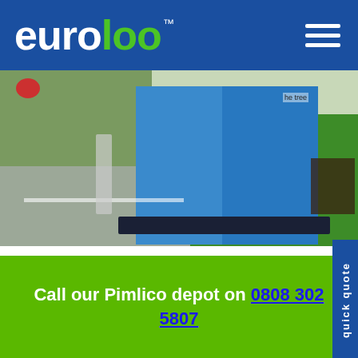[Figure (logo): euroloo logo in white and green on blue background with hamburger menu icon]
[Figure (photo): Blue portable toilet units placed on a paved area next to a grassy outdoor space with picnic tables and garden]
Guaranteed next day delivery for your Portable Toilet Hire in Pimlico. Call or click to book today.
You’ve almost certainly seen our “euroloo portable
Call our Pimlico depot on 0808 302 5807